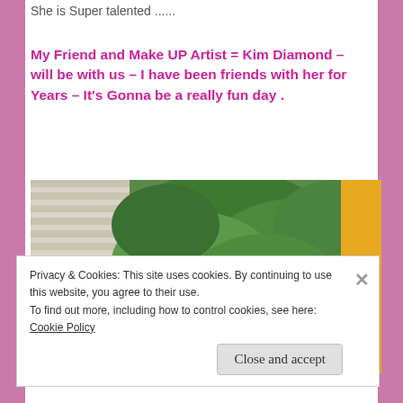She is Super talented ......
My Friend and Make UP Artist = Kim Diamond – will be with us – I have been friends with her for Years – It's Gonna be a really fun day .
[Figure (photo): Outdoor photo showing a person with blonde hair in a bun, viewed from behind, standing near a white slatted wall/fence with green foliage and trees in the background, and a yellow structure on the right.]
Privacy & Cookies: This site uses cookies. By continuing to use this website, you agree to their use.
To find out more, including how to control cookies, see here: Cookie Policy
Close and accept